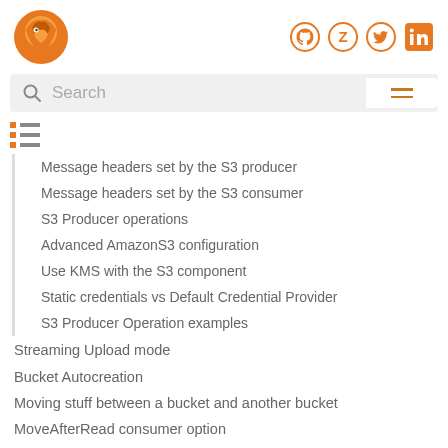Apache Camel documentation site header with logo and social icons
Message headers set by the S3 producer
Message headers set by the S3 consumer
S3 Producer operations
Advanced AmazonS3 configuration
Use KMS with the S3 component
Static credentials vs Default Credential Provider
S3 Producer Operation examples
Streaming Upload mode
Bucket Autocreation
Moving stuff between a bucket and another bucket
MoveAfterRead consumer option